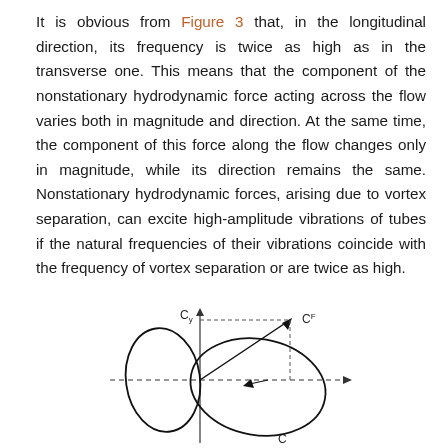It is obvious from Figure 3 that, in the longitudinal direction, its frequency is twice as high as in the transverse one. This means that the component of the nonstationary hydrodynamic force acting across the flow varies both in magnitude and direction. At the same time, the component of this force along the flow changes only in magnitude, while its direction remains the same. Nonstationary hydrodynamic forces, arising due to vortex separation, can excite high-amplitude vibrations of tubes if the natural frequencies of their vibrations coincide with the frequency of vortex separation or are twice as high.
[Figure (engineering-diagram): A Lissajous-type force diagram showing Cy (vertical axis), C (horizontal axis), and CF (resultant vector). Two looping oval curves are drawn representing the trajectory of the hydrodynamic force vector components, with dashed lines indicating axes and an arrow pointing to CF in the upper right quadrant.]